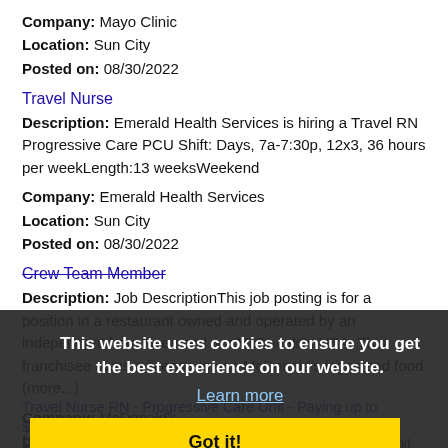Company: Mayo Clinic
Location: Sun City
Posted on: 08/30/2022
Travel Nurse
Description: Emerald Health Services is hiring a Travel RN Progressive Care PCU Shift: Days, 7a-7:30p, 12x3, 36 hours per weekLength:13 weeksWeekend
Company: Emerald Health Services
Location: Sun City
Posted on: 08/30/2022
Crew Team Member
Description: Job DescriptionThis job posting is for a position in a restaurant owned and operated by an independent franchisee and not McDonald's USA. This franchisee owns a license to use McDonald's logos and food (more...)
Company: McDonald's
Location: Sun City
Posted on: 08/30/2022
This website uses cookies to ensure you get the best experience on our website.
Learn more
Got it!
Travel Nurse RN - Progressive Care Unit - Paying up to $2,975/week
Description: Vivian is looking for Travel Progressive Care Unit RNs